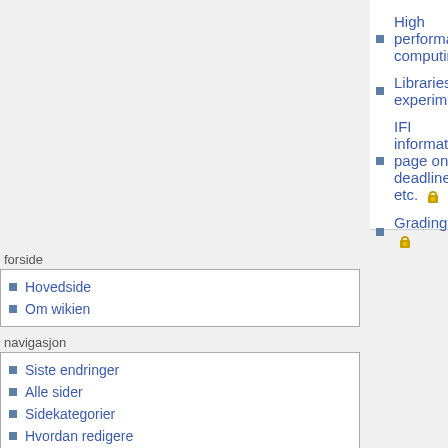High performance computing
Libraries for experimentation
IFI information page on deadlines etc. 🔒
Grading 🔒
forside
Hovedside
Om wikien
navigasjon
Siste endringer
Alle sider
Sidekategorier
Hvordan redigere
Hjelp
søk
verktøy
Lenker hit
Relaterte endringer
Spesialsider
Utskriftsvennlig